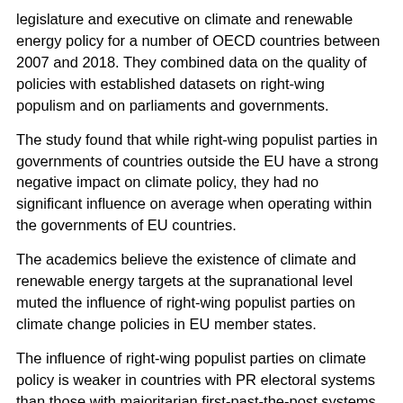legislature and executive on climate and renewable energy policy for a number of OECD countries between 2007 and 2018. They combined data on the quality of policies with established datasets on right-wing populism and on parliaments and governments.
The study found that while right-wing populist parties in governments of countries outside the EU have a strong negative impact on climate policy, they had no significant influence on average when operating within the governments of EU countries.
The academics believe the existence of climate and renewable energy targets at the supranational level muted the influence of right-wing populist parties on climate change policies in EU member states.
The influence of right-wing populist parties on climate policy is weaker in countries with PR electoral systems than those with majoritarian first-past-the-post systems, the study found.
The researchers explain that in countries with PR, right-wing populist parties typically enter government as junior coalition partners with limited numbers of cabinet seats and prioritise their portfolios towards issues such as immigration rather than climate